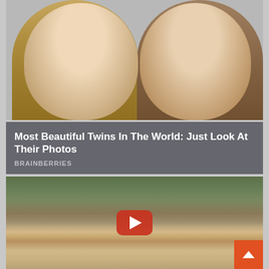[Figure (photo): Photo of two young blonde girls (twins) with striking blue/green eyes looking at camera, light background wall]
Most Beautiful Twins In The World: Just Look At Their Photos
BRAINBERRIES
[Figure (photo): Photo of a dark-haired woman in sunglasses wearing a black bikini, lying on a beach, posing with a peace sign; YouTube play button overlay visible; orange scroll-to-top button in bottom right]